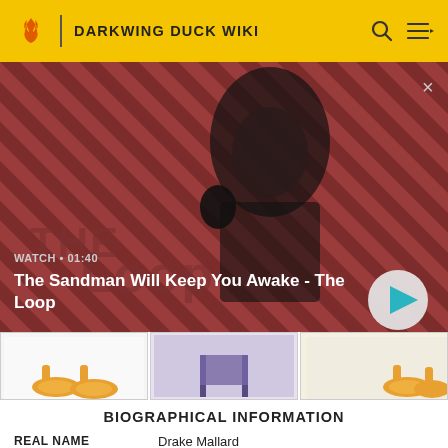DARKWING DUCK WIKI
[Figure (screenshot): Video player banner showing a dark-themed promotional image for 'The Sandman Will Keep You Awake - The Loop'. A person in dark clothing with a raven on their shoulder stands against a red/brown diagonal striped background. Overlay shows WATCH • 01:40 label and a circular play button.]
[Figure (screenshot): Row of three thumbnail images from Darkwing Duck Wiki, showing cartoon duck feet on yellow/orange backgrounds and a chair scene.]
BIOGRAPHICAL INFORMATION
| Field | Value |
| --- | --- |
| REAL NAME | Drake Mallard |